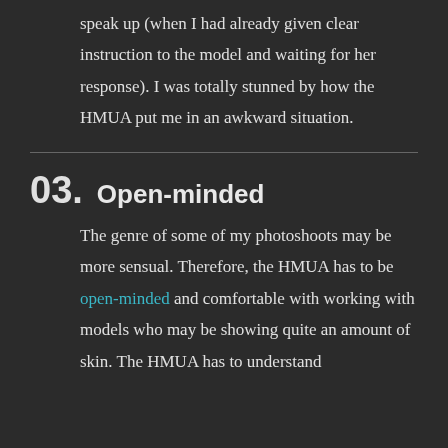speak up (when I had already given clear instruction to the model and waiting for her response). I was totally stunned by how the HMUA put me in an awkward situation.
03. Open-minded
The genre of some of my photoshoots may be more sensual. Therefore, the HMUA has to be open-minded and comfortable with working with models who may be showing quite an amount of skin. The HMUA has to understand